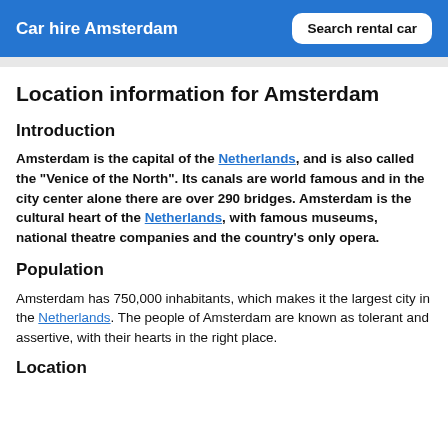Car hire Amsterdam | Search rental car
Location information for Amsterdam
Introduction
Amsterdam is the capital of the Netherlands, and is also called the "Venice of the North". Its canals are world famous and in the city center alone there are over 290 bridges. Amsterdam is the cultural heart of the Netherlands, with famous museums, national theatre companies and the country's only opera.
Population
Amsterdam has 750,000 inhabitants, which makes it the largest city in the Netherlands. The people of Amsterdam are known as tolerant and assertive, with their hearts in the right place.
Location